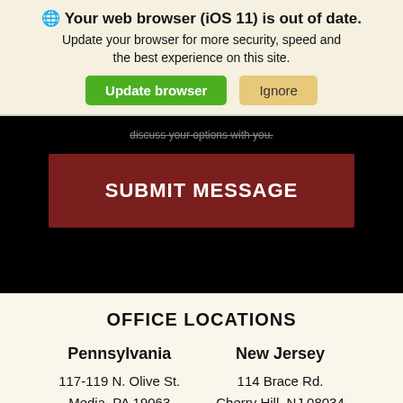🌐 Your web browser (iOS 11) is out of date. Update your browser for more security, speed and the best experience on this site.
Update browser   Ignore
discuss your options with you.
SUBMIT MESSAGE
OFFICE LOCATIONS
Pennsylvania
117-119 N. Olive St.
Media, PA 19063
New Jersey
114 Brace Rd.
Cherry Hill, NJ 08034